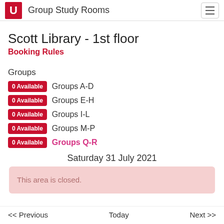Group Study Rooms
Scott Library - 1st floor
Booking Rules
Groups
0 Available  Groups A-D
0 Available  Groups E-H
0 Available  Groups I-L
0 Available  Groups M-P
0 Available  Groups Q-R
Saturday 31 July 2021
This area is closed.
<< Previous    Today    Next >>